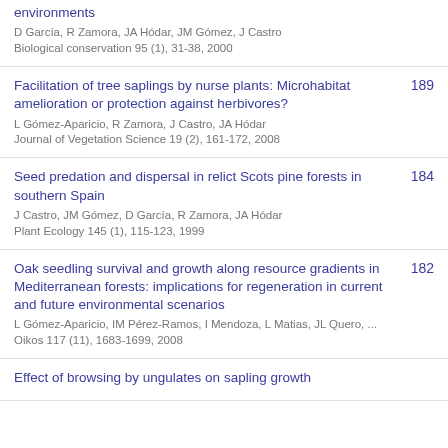environments
D García, R Zamora, JA Hódar, JM Gómez, J Castro
Biological conservation 95 (1), 31-38, 2000
Facilitation of tree saplings by nurse plants: Microhabitat amelioration or protection against herbivores?
L Gómez-Aparicio, R Zamora, J Castro, JA Hódar
Journal of Vegetation Science 19 (2), 161-172, 2008
189
Seed predation and dispersal in relict Scots pine forests in southern Spain
J Castro, JM Gómez, D García, R Zamora, JA Hódar
Plant Ecology 145 (1), 115-123, 1999
184
Oak seedling survival and growth along resource gradients in Mediterranean forests: implications for regeneration in current and future environmental scenarios
L Gómez-Aparicio, IM Pérez-Ramos, I Mendoza, L Matias, JL Quero, ...
Oikos 117 (11), 1683-1699, 2008
182
Effect of browsing by ungulates on sapling growth